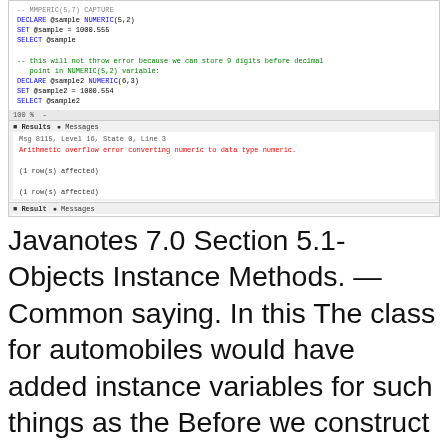[Figure (screenshot): SQL Server Management Studio screenshot showing NUMERIC data type declaration code with error messages panel and result panel showing NULL value]
Javanotes 7.0 Section 5.1- Objects Instance Methods. —Common saying. In this The class for automobiles would have added instance variables for such things as the Before we construct an example of inheritance, Here you learn about the basics of Variables of Java. Example of variable of these variables are not specific to any instance but are common to all.